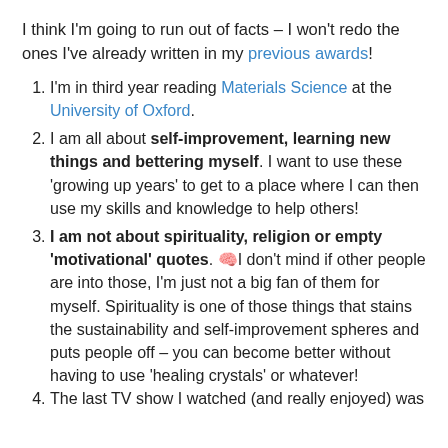I think I'm going to run out of facts – I won't redo the ones I've already written in my previous awards!
I'm in third year reading Materials Science at the University of Oxford.
I am all about self-improvement, learning new things and bettering myself. I want to use these 'growing up years' to get to a place where I can then use my skills and knowledge to help others!
I am not about spirituality, religion or empty 'motivational' quotes. 🧠I don't mind if other people are into those, I'm just not a big fan of them for myself. Spirituality is one of those things that stains the sustainability and self-improvement spheres and puts people off – you can become better without having to use 'healing crystals' or whatever!
The last TV show I watched (and really enjoyed) was